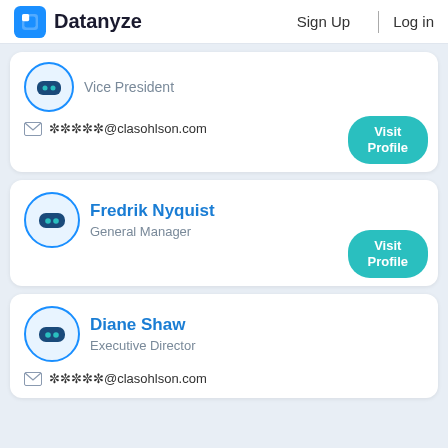Datanyze  Sign Up  Log in
Vice President
*****@clasohlson.com
Visit Profile
Fredrik Nyquist
General Manager
Visit Profile
Diane Shaw
Executive Director
*****@clasohlson.com